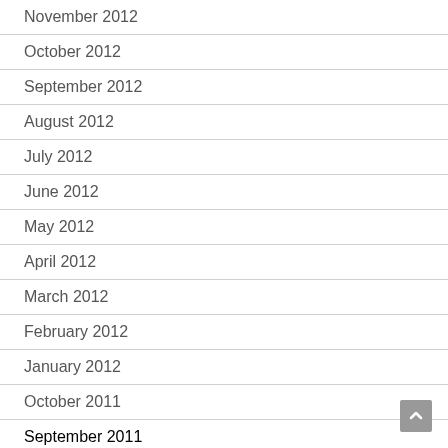November 2012
October 2012
September 2012
August 2012
July 2012
June 2012
May 2012
April 2012
March 2012
February 2012
January 2012
October 2011
September 2011